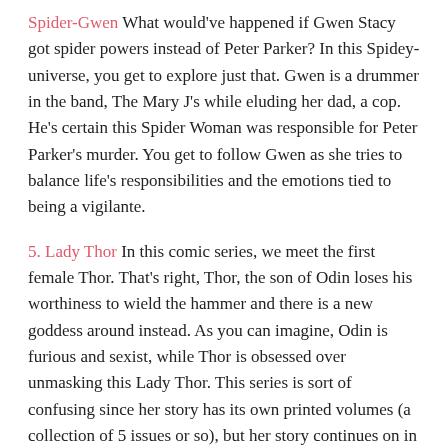Spider-Gwen What would've happened if Gwen Stacy got spider powers instead of Peter Parker? In this Spidey-universe, you get to explore just that. Gwen is a drummer in the band, The Mary J's while eluding her dad, a cop. He's certain this Spider Woman was responsible for Peter Parker's murder. You get to follow Gwen as she tries to balance life's responsibilities and the emotions tied to being a vigilante.
5. Lady Thor In this comic series, we meet the first female Thor. That's right, Thor, the son of Odin loses his worthiness to wield the hammer and there is a new goddess around instead. As you can imagine, Odin is furious and sexist, while Thor is obsessed over unmasking this Lady Thor. This series is sort of confusing since her story has its own printed volumes (a collection of 5 issues or so), but her story continues on in other series. It's still beautifully illustrated and the story is awesome, so I have to recommend it, regardless.